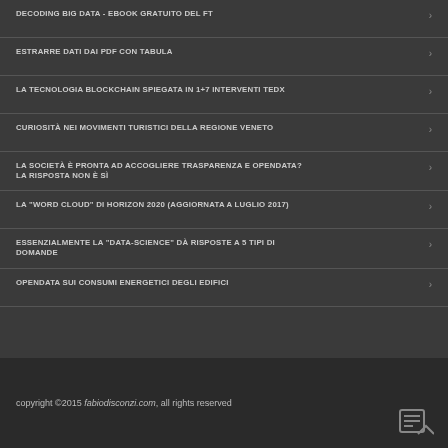DECODING BIG DATA - EBOOK GRATUITO DEL FT
ESTRARRE DATI DAI PDF CON TABULA
LA TECNOLOGIA BLOCKCHAIN SPIEGATA IN 1+7 INTERVENTI TEDX
CURIOSITÀ NEI MOVIMENTI TURISTICI DELLA REGIONE VENETO
LA SOCIETÀ È PRONTA AD ACCOGLIERE TRASPARENZA E OPENDATA? LA RISPOSTA NON È SÌ
LA "WORD CLOUD" DI HORIZON 2020 (AGGIORNATA A LUGLIO 2017)
ESSENZIALMENTE LA "DATA-SCIENCE" DÀ RISPOSTE A 5 TIPI DI DOMANDE
OPENDATA SUI CONSUMI ENERGETICI DEGLI EDIFICI
copyright ©2015 fabiodisconzi.com, all rights reserved